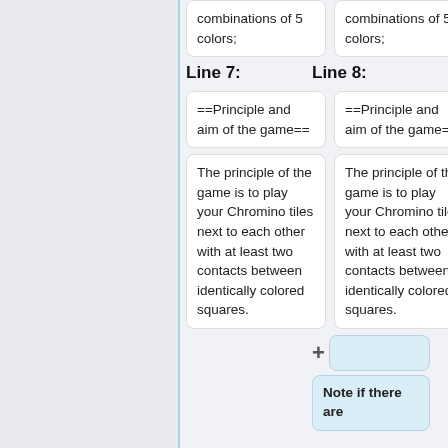combinations of 5 colors;
combinations of 5 colors;
Line 7:
Line 8:
==Principle and aim of the game==
==Principle and aim of the game==
The principle of the game is to play your Chromino tiles next to each other with at least two contacts between identically colored squares.
The principle of the game is to play your Chromino tiles next to each other with at least two contacts between identically colored squares.
+
Note if there are